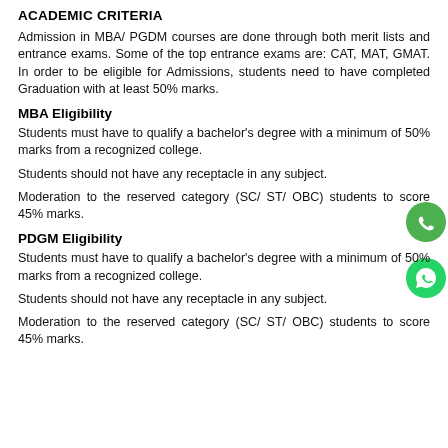ACADEMIC CRITERIA
Admission in MBA/ PGDM courses are done through both merit lists and entrance exams. Some of the top entrance exams are: CAT, MAT, GMAT. In order to be eligible for Admissions, students need to have completed Graduation with at least 50% marks.
MBA Eligibility
Students must have to qualify a bachelor's degree with a minimum of 50% marks from a recognized college.
Students should not have any receptacle in any subject.
Moderation to the reserved category (SC/ ST/ OBC) students to score 45% marks.
PDGM Eligibility
Students must have to qualify a bachelor's degree with a minimum of 50% marks from a recognized college.
Students should not have any receptacle in any subject.
Moderation to the reserved category (SC/ ST/ OBC) students to score 45% marks.